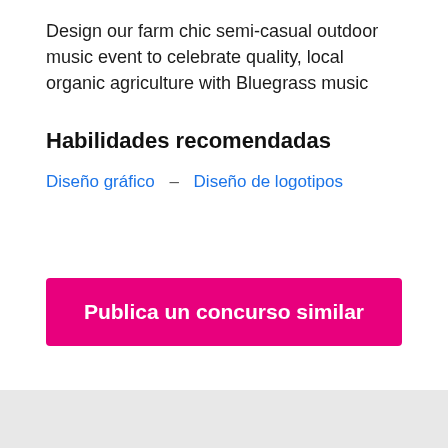Design our farm chic semi-casual outdoor music event to celebrate quality, local organic agriculture with Bluegrass music
Habilidades recomendadas
Diseño gráfico  –  Diseño de logotipos
Publica un concurso similar